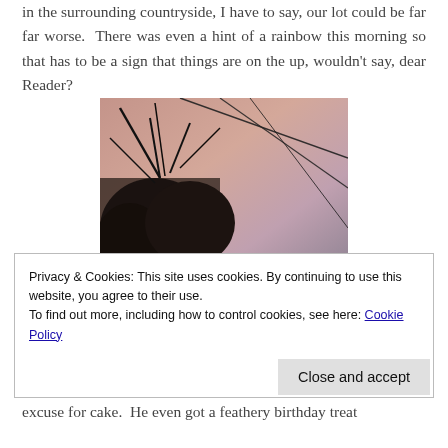in the surrounding countryside, I have to say, our lot could be far far worse. There was even a hint of a rainbow this morning so that has to be a sign that things are on the up, wouldn't say, dear Reader?
[Figure (photo): A photograph taken looking upward at a pink-tinged sky with bare tree branches silhouetted against the sky and power/telephone lines crossing the frame diagonally.]
if you want to all be done you can to
Privacy & Cookies: This site uses cookies. By continuing to use this website, you agree to their use.
To find out more, including how to control cookies, see here: Cookie Policy
Close and accept
excuse for cake. He even got a feathery birthday treat